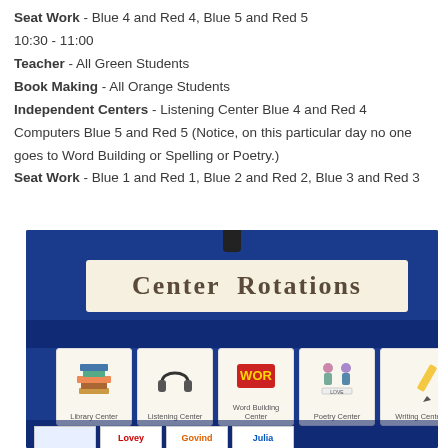Seat Work - Blue 4 and Red 4, Blue 5 and Red 5
10:30 - 11:00
Teacher - All Green Students
Book Making - All Orange Students
Independent Centers - Listening Center Blue 4 and Red 4 Computers Blue 5 and Red 5 (Notice, on this particular day no one goes to Word Building or Spelling or Poetry.)
Seat Work - Blue 1 and Red 1, Blue 2 and Red 2, Blue 3 and Red 3
[Figure (photo): Photograph of a classroom bulletin board titled 'Center Rotations' on a blue background, showing cards for Library Center, Listening Center, Word Building Center, Poetry Center, and Writing Center, with student name cards (Lovey, Govind, Julia) visible at the bottom.]